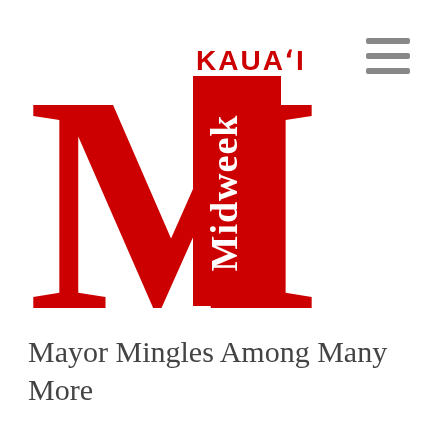[Figure (logo): Kaua'i Midweek logo: large red bold serif letter M with red vertical banner reading 'Midweek' rotated 90 degrees inside the M, and 'KAUA'I' in small red sans-serif text above]
[Figure (other): Hamburger menu icon: three horizontal dark gray lines stacked]
Mayor Mingles Among Many More